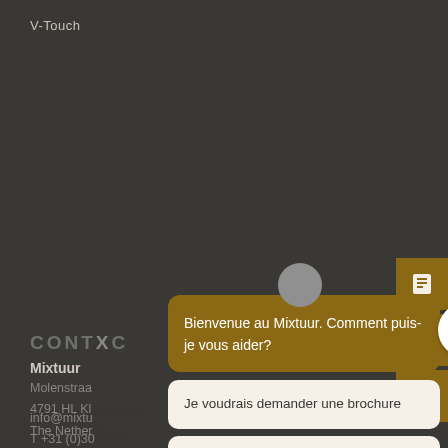V-Touch
CONTACT
Mixtuur
Molenstraa...
4791 HL Kl...
The Nether...
info@mixtu...
T +31 (0)30...
[Figure (screenshot): Chat widget overlay with brown header bubble saying 'Bienvenue au Mixtuur. Comment puis-je vous aider?' and two white option buttons: 'Je voudrais demander une brochure' and 'J’ai une question'. Mixtuur logo circle on right. Right sidebar with brown icon buttons (document, envelope, phone).]
Bienvenue au Mixtuur. Comment puis-je vous aider?
Je voudrais demander une brochure
J’ai une question